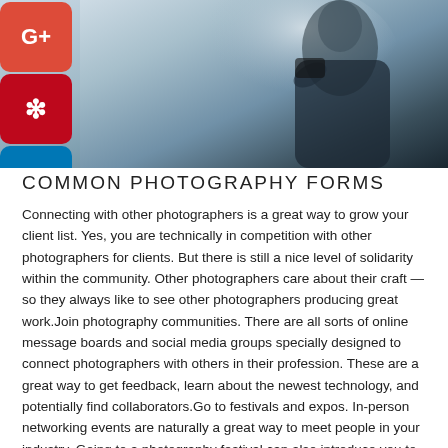[Figure (photo): A person photographing outdoors, wearing a dark jacket, bokeh background with soft light and muted tones. Social media sharing buttons (Twitter, Google+, Pinterest, LinkedIn) visible on the left side.]
COMMON PHOTOGRAPHY FORMS
Connecting with other photographers is a great way to grow your client list. Yes, you are technically in competition with other photographers for clients. But there is still a nice level of solidarity within the community. Other photographers care about their craft — so they always like to see other photographers producing great work.Join photography communities. There are all sorts of online message boards and social media groups specially designed to connect photographers with others in their profession. These are a great way to get feedback, learn about the newest technology, and potentially find collaborators.Go to festivals and expos. In-person networking events are naturally a great way to meet people in your industry. Going to a photography festival can also introduce you to new cameras and equipment that might benefit your business. These events are also a great chance to hand out your business card and find people to work with down the road.Volunteer